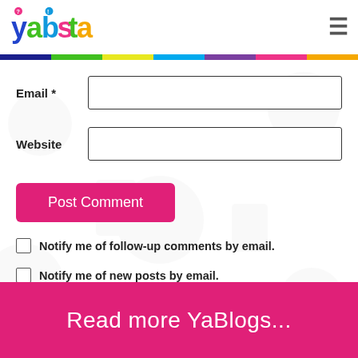[Figure (logo): Yabsta logo with colorful letters and icons]
Email *
Website
Post Comment
Notify me of follow-up comments by email.
Notify me of new posts by email.
Read more YaBlogs...